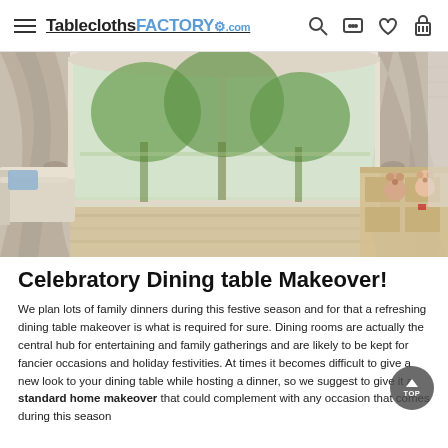TableclothsFACTORY.com
[Figure (photo): Interior room photo showing large sliding glass doors with beige curtains, natural light, hardwood floor, a daybed on the left, and stuffed teddy bears and a small dresser on the right.]
Celebratory Dining table Makeover!
We plan lots of family dinners during this festive season and for that a refreshing dining table makeover is what is required for sure. Dining rooms are actually the central hub for entertaining and family gatherings and are likely to be kept for fancier occasions and holiday festivities. At times it becomes difficult to give a new look to your dining table while hosting a dinner, so we suggest to give it a standard home makeover that could complement with any occasion that comes during this season.